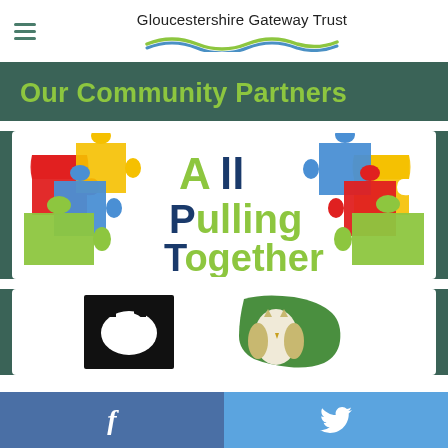Gloucestershire Gateway Trust
Our Community Partners
[Figure (logo): All Pulling Together logo — colourful interlocking puzzle pieces with text 'All Pulling Together' in green and dark blue]
[Figure (logo): Two partner logos partially visible: a badger logo (black and white) and an owl with green Gloucestershire silhouette]
Facebook and Twitter social media links